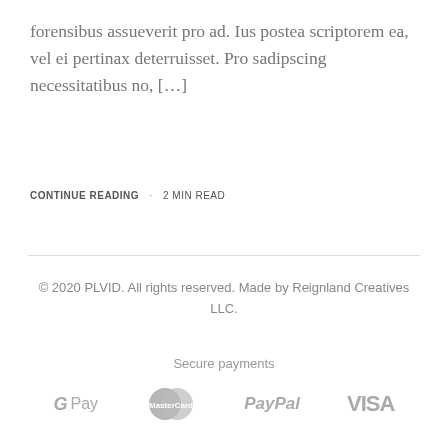forensibus assueverit pro ad. Ius postea scriptorem ea, vel ei pertinax deterruisset. Pro sadipscing necessitatibus no, […]
CONTINUE READING · 2 MIN READ
© 2020 PLVID. All rights reserved. Made by Reignland Creatives LLC.
Secure payments
[Figure (logo): Payment method logos: G Pay, MasterCard, PayPal, VISA]